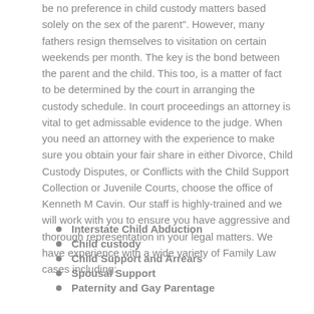be no preference in child custody matters based solely on the sex of the parent". However, many fathers resign themselves to visitation on certain weekends per month. The key is the bond between the parent and the child. This too, is a matter of fact to be determined by the court in arranging the custody schedule. In court proceedings an attorney is vital to get admissable evidence to the judge. When you need an attorney with the experience to make sure you obtain your fair share in either Divorce, Child Custody Disputes, or Conflicts with the Child Support Collection or Juvenile Courts, choose the office of Kenneth M Cavin. Our staff is highly-trained and we will work with you to ensure you have aggressive and thorough representation in your legal matters. We have experience with a wide variety of Family Law cases including:
Interstate Child Abduction
Child custody
Child Support and Arrears
Spousal Support
Paternity and Gay Parentage